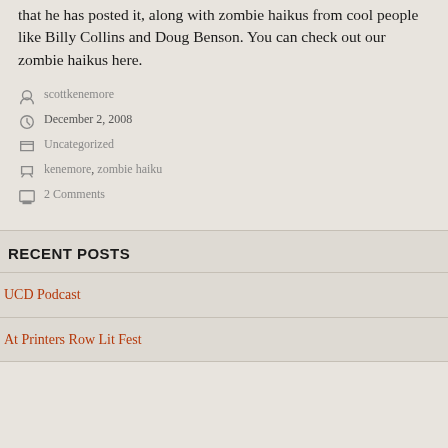that he has posted it, along with zombie haikus from cool people like Billy Collins and Doug Benson. You can check out our zombie haikus here.
By scottkenemore
December 2, 2008
Uncategorized
kenemore, zombie haiku
2 Comments
RECENT POSTS
UCD Podcast
At Printers Row Lit Fest